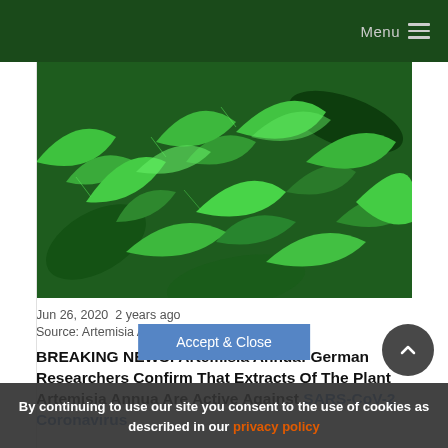Menu
[Figure (photo): Close-up photograph of green Artemisia Annua plant leaves with deeply lobed, fern-like foliage in vibrant green tones.]
Jun 26, 2020  2 years ago
Source: Artemisia Annua
BREAKING NEWS! Artemisia Annua: German Researchers Confirm That Extracts Of The Plant Artemisia Annua Are Active Against SARS-CoV-2 Coronavirus
By continuing to use our site you consent to the use of cookies as described in our privacy policy